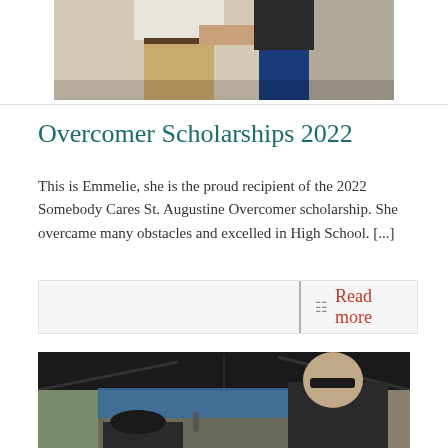[Figure (photo): Two people standing, one appears to be handing something to the other, indoor setting with a door visible in the background.]
Overcomer Scholarships 2022
This is Emmelie, she is the proud recipient of the 2022 Somebody Cares St. Augustine Overcomer scholarship. She overcame many obstacles and excelled in High School. [...]
Read more
[Figure (photo): People gathered under a dark canopy/tent outdoors; a man with sunglasses is visible prominently, with others in the background under a blue tarp.]